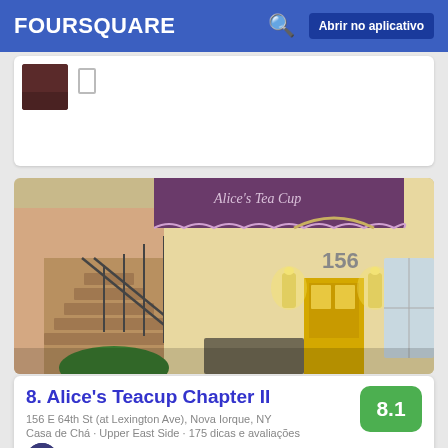FOURSQUARE   Abrir no aplicativo
[Figure (photo): Partial top listing card with a small dark thumbnail photo and a bookmark icon]
[Figure (photo): Exterior photo of Alice's Teacup Chapter II at 156 E 64th St, showing a purple/maroon awning with scalloped edge reading 'Alice's Tea Cup', yellow door entrance, stairs with iron railing, and wall-mounted lanterns]
8. Alice's Teacup Chapter II
156 E 64th St (at Lexington Ave), Nova Iorque, NY
Casa de Chá · Upper East Side · 175 dicas e avaliações
Carmen N: They are super kind and